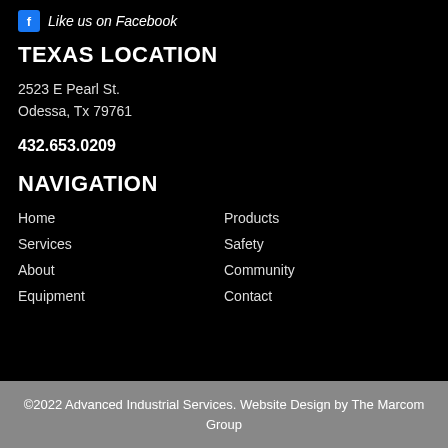[Figure (logo): Facebook icon with 'Like us on Facebook' text]
TEXAS LOCATION
2523 E Pearl St.
Odessa, Tx 79761
432.653.0209
NAVIGATION
Home
Products
Services
Safety
About
Community
Equipment
Contact
©2022 Advanced Industrial Services. Website Design by The Marcom Group